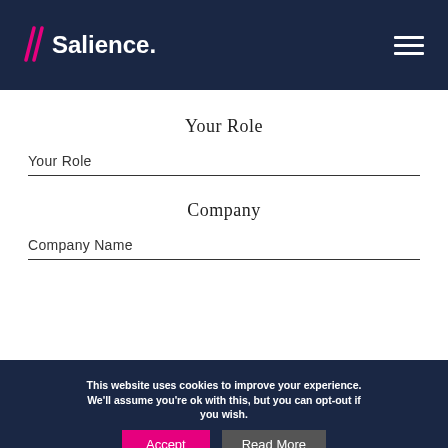Salience.
Your Role
Your Role
Company
Company Name
This website uses cookies to improve your experience. We'll assume you're ok with this, but you can opt-out if you wish. Accept Read More